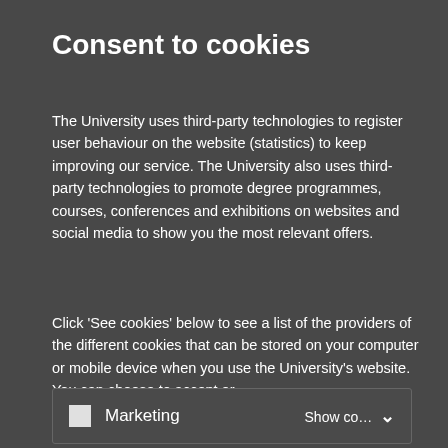Consent to cookies
The University uses third-party technologies to register user behaviour on the website (statistics) to keep improving our service. The University also uses third-party technologies to promote degree programmes, courses, conferences and exhibitions on websites and social media to show you the most relevant offers.
Click 'See cookies' below to see a list of the providers of the different cookies that can be stored on your computer or mobile device when you use the University's website. You can choose to accept or reject cookies and you can always review your consent
Statistics   Show cookies ∨
Marketing   Show cookies ∨